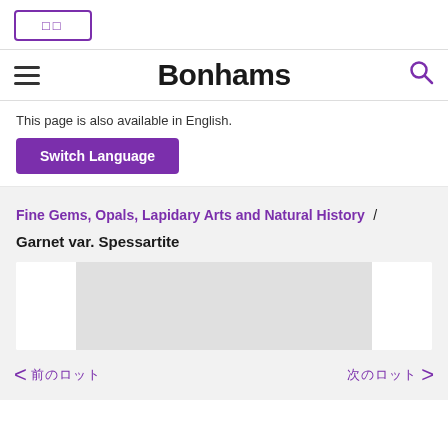[Figure (logo): Bonhams auction house logo box with purple border]
Bonhams
This page is also available in English.
Switch Language
Fine Gems, Opals, Lapidary Arts and Natural History / Garnet var. Spessartite
[Figure (photo): Item image placeholder for Garnet var. Spessartite]
< 前のロット  次のロット >